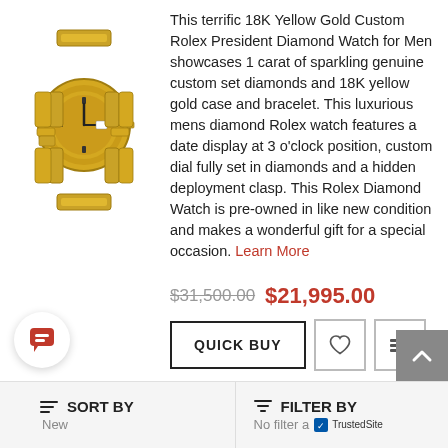[Figure (photo): Gold Rolex President Diamond Watch with yellow gold bracelet]
This terrific 18K Yellow Gold Custom Rolex President Diamond Watch for Men showcases 1 carat of sparkling genuine custom set diamonds and 18K yellow gold case and bracelet. This luxurious mens diamond Rolex watch features a date display at 3 o'clock position, custom dial fully set in diamonds and a hidden deployment clasp. This Rolex Diamond Watch is pre-owned in like new condition and makes a wonderful gift for a special occasion. Learn More
$31,500.00  $21,995.00
QUICK BUY
41mm Iced Out Audemars Piguet Royal
SORT BY
New
FILTER BY
No filter a